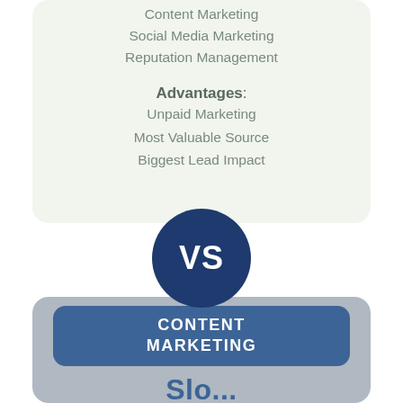Content Marketing
Social Media Marketing
Reputation Management
Advantages:
Unpaid Marketing
Most Valuable Source
Biggest Lead Impact
[Figure (infographic): Dark blue circle with bold white text 'VS' in the center, serving as a divider between two comparison cards]
CONTENT MARKETING
Slo... (partial text cut off at bottom)